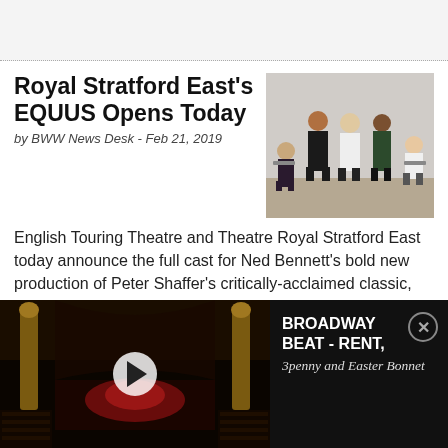Royal Stratford East's EQUUS Opens Today
by BWW News Desk - Feb 21, 2019
[Figure (photo): Group photo of cast members standing and sitting in a studio space]
English Touring Theatre and Theatre Royal Stratford East today announce the full cast for Ned Bennett's bold new production of Peter Shaffer's critically-acclaimed classic, psychological thriller Equus. Bennett directs Robert Finch (Frank Strang/Horse), Keith Gilmore (Harry Dalton/Nurse/Horse),
[Figure (screenshot): Video thumbnail showing darkened theatre interior with stage lighting and a play button overlay]
BROADWAY BEAT - RENT, 3penny and Easter Bonnet